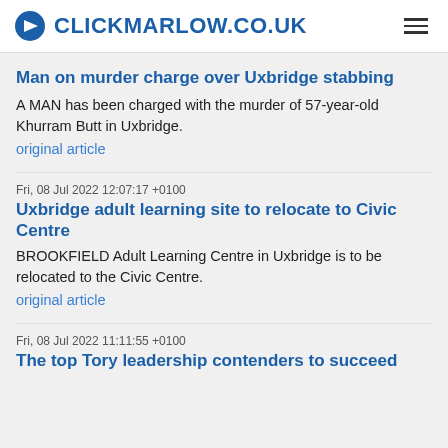CLICKMARLOW.CO.UK
Man on murder charge over Uxbridge stabbing
A MAN has been charged with the murder of 57-year-old Khurram Butt in Uxbridge.
original article
Fri, 08 Jul 2022 12:07:17 +0100
Uxbridge adult learning site to relocate to Civic Centre
BROOKFIELD Adult Learning Centre in Uxbridge is to be relocated to the Civic Centre.
original article
Fri, 08 Jul 2022 11:11:55 +0100
The top Tory leadership contenders to succeed